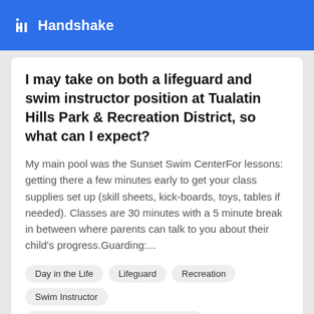Handshake
I may take on both a lifeguard and swim instructor position at Tualatin Hills Park & Recreation District, so what can I expect?
My main pool was the Sunset Swim CenterFor lessons: getting there a few minutes early to get your class supplies set up (skill sheets, kick-boards, toys, tables if needed). Classes are 30 minutes with a 5 minute break in between where parents can talk to you about their child's progress.Guarding:...
Day in the Life
Lifeguard
Recreation
Swim Instructor
Tualatin Hills Park & Recreation District
1 answers